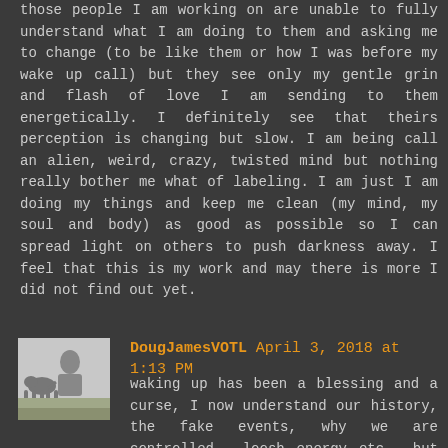those people I am working on are unable to fully understand what I am doing to them and asking me to change (to be like them or how I was before my wake up call) but they see only my gentle grin and flash of love I am sending to them energetically. I definitely see that theirs perception is changing but slow. I am being call an alien, weird, crazy, twisted mind but nothing really bother me what of labeling. I am just I am doing my things and keep me clean (my mind, my soul and body) as good as possible so I can spread light on others to push darkness away. I feel that this is my work and may there is more I did not find out yet.
[Figure (photo): Small avatar photo of a person with a dog, used as commenter profile picture]
DougJamesVOTL  April 3, 2018 at 1:13 PM
waking up has been a blessing and a curse, I now understand our history, the fake events, why we are controlled.. loosh energy etc.. but those around me are still fast asleep.. it's like a horror movie, I see the killer outside the window the gun